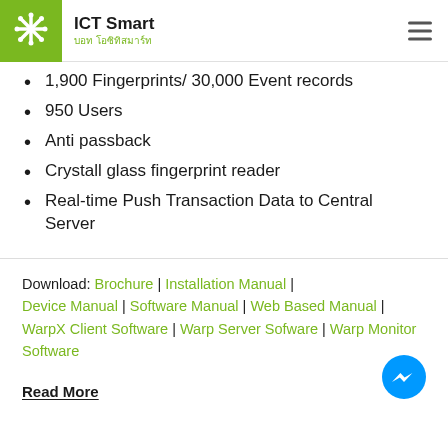ICT Smart / บอท โอซิทิสมาร์ท
1,900 Fingerprints/ 30,000 Event records
950 Users
Anti passback
Crystall glass fingerprint reader
Real-time Push Transaction Data to Central Server
Download: Brochure | Installation Manual | Device Manual | Software Manual | Web Based Manual | WarpX Client Software | Warp Server Sofware | Warp Monitor Software
Read More